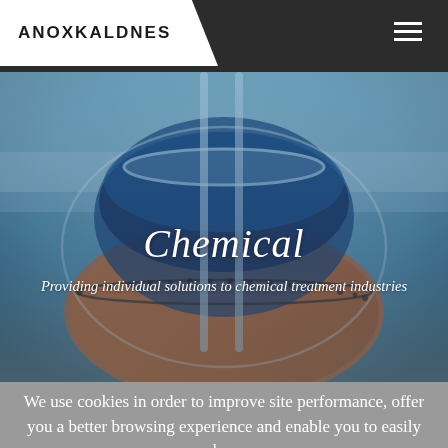ANOXKALDNES
[Figure (photo): Close-up photo of glass laboratory flask/beaker containing dark blue and amber liquid, with glass stirring rods, set against a light blue background.]
Chemical
Providing individual solutions to chemical treatment industries
We use cookies in order to improve site performance, offer you a better browsing experience and enable you to easily share